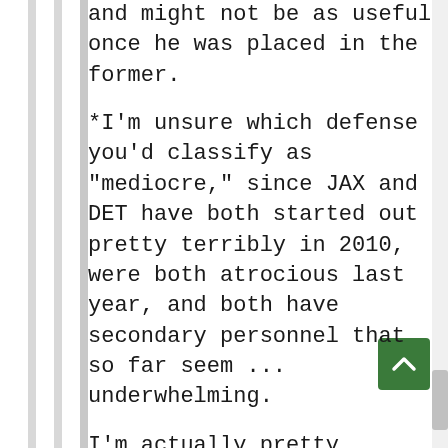and might not be as useful once he was placed in the former.
*I'm unsure which defense you'd classify as "mediocre," since JAX and DET have both started out pretty terribly in 2010, were both atrocious last year, and both have secondary personnel that so far seem ... underwhelming.
I'm actually pretty agnostic about Vick. I definitely agree with you that he looks like a different player than he was in Atlanta, and I came away quite impressed with his work against Green Bay. I have no doubt that he's capable of looking incredible again this week against a Redskins' defence that could very